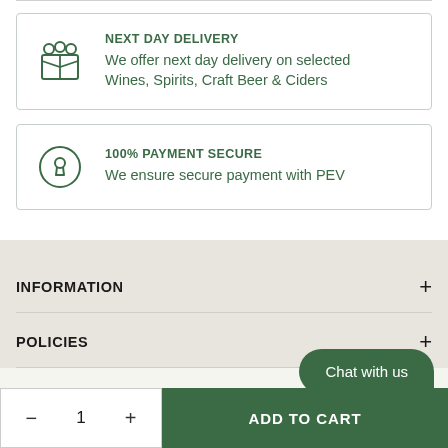NEXT DAY DELIVERY
We offer next day delivery on selected Wines, Spirits, Craft Beer & Ciders
100% PAYMENT SECURE
We ensure secure payment with PEV
INFORMATION
POLICIES
Chat with us
- 1 +
ADD TO CART